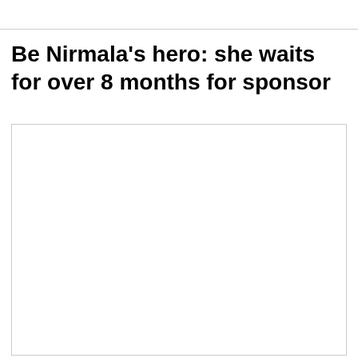Be Nirmala's hero: she waits for over 8 months for sponsor
[Figure (photo): Empty white image placeholder box with light border]